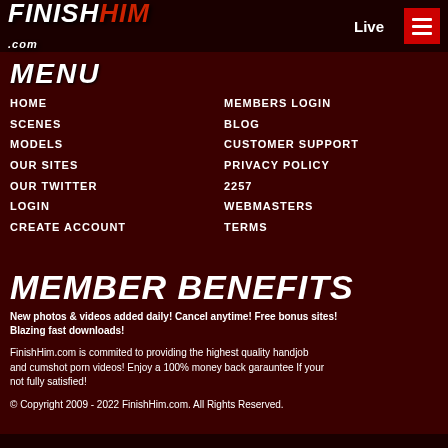FinishHim.com | Live
MENU
HOME
SCENES
MODELS
OUR SITES
OUR TWITTER
LOGIN
CREATE ACCOUNT
MEMBERS LOGIN
BLOG
CUSTOMER SUPPORT
PRIVACY POLICY
2257
WEBMASTERS
TERMS
MEMBER BENEFITS
New photos & videos added daily! Cancel anytime! Free bonus sites! Blazing fast downloads!
FinishHim.com is commited to providing the highest quality handjob and cumshot porn videos! Enjoy a 100% money back garauntee If your not fully satisfied!
© Copyright 2009 - 2022 FinishHim.com. All Rights Reserved.